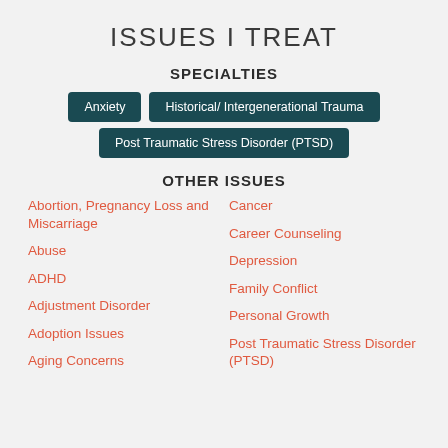ISSUES I TREAT
SPECIALTIES
Anxiety
Historical/ Intergenerational Trauma
Post Traumatic Stress Disorder (PTSD)
OTHER ISSUES
Abortion, Pregnancy Loss and Miscarriage
Abuse
ADHD
Adjustment Disorder
Adoption Issues
Aging Concerns
Cancer
Career Counseling
Depression
Family Conflict
Personal Growth
Post Traumatic Stress Disorder (PTSD)